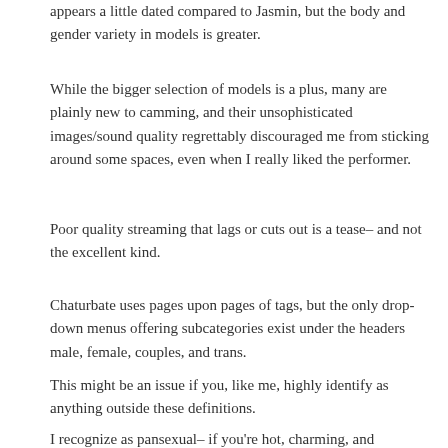appears a little dated compared to Jasmin, but the body and gender variety in models is greater.
While the bigger selection of models is a plus, many are plainly new to camming, and their unsophisticated images/sound quality regrettably discouraged me from sticking around some spaces, even when I really liked the performer.
Poor quality streaming that lags or cuts out is a tease– and not the excellent kind.
Chaturbate uses pages upon pages of tags, but the only drop-down menus offering subcategories exist under the headers male, female, couples, and trans.
This might be an issue if you, like me, highly identify as anything outside these definitions.
I recognize as pansexual– if you're hot, charming, and providing